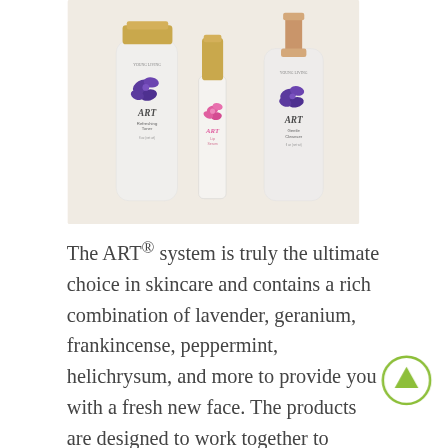[Figure (photo): Three Young Living ART skincare product bottles with gold caps against a warm beige background. Left: ART Refreshing Toner (large white bottle, purple orchid design). Center: ART Lip Serum (small clear/white bottle, pink orchid design). Right: ART Gentle Cleanser (medium white bottle, purple orchid design).]
The ART® system is truly the ultimate choice in skincare and contains a rich combination of lavender, geranium, frankincense, peppermint, helichrysum, and more to provide you with a fresh new face. The products are designed to work together to rejuvenate your skin – creating a natural glow visible from the first time you